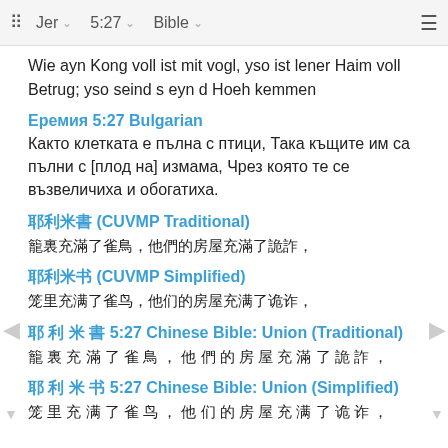Jer  5:27  Bible
Wie ayn Kong voll ist mit vogl, yso ist lener Haim voll Betrug; yso seind s eyn d Hoeh kemmen
Еремия 5:27 Bulgarian
Както клетката е пълна с птици, Така къщите им са пълни с [плод на] измама, Чрез която те се възвеличиха и обогатиха.
耶利米書 (CUVMP Traditional)
籠裏充滿了雀鳥，他們的房屋充滿了詭詐，
耶利米书 (CUVMP Simplified)
笼里充满了雀鸟，他们的房屋充满了诡诈，
耶 利 米 書 5:27 Chinese Bible: Union (Traditional)
籠 裏 充 滿 了 雀 鳥 ， 他 們 的 房 屋 充 滿 了 詭 詐 ，
耶 利 米 书 5:27 Chinese Bible: Union (Simplified)
笼 里 充 满 了 雀 鸟 ， 他 们 的 房 屋 充 满 了 诡 诈 ，